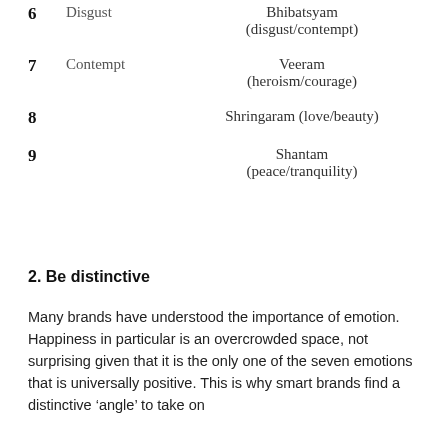| # | Emotion | Rasa |
| --- | --- | --- |
| 6 | Disgust | Bhibatsyam
(disgust/contempt) |
| 7 | Contempt | Veeram
(heroism/courage) |
| 8 |  | Shringaram (love/beauty) |
| 9 |  | Shantam
(peace/tranquility) |
2. Be distinctive
Many brands have understood the importance of emotion. Happiness in particular is an overcrowded space, not surprising given that it is the only one of the seven emotions that is universally positive. This is why smart brands find a distinctive ‘angle’ to take on